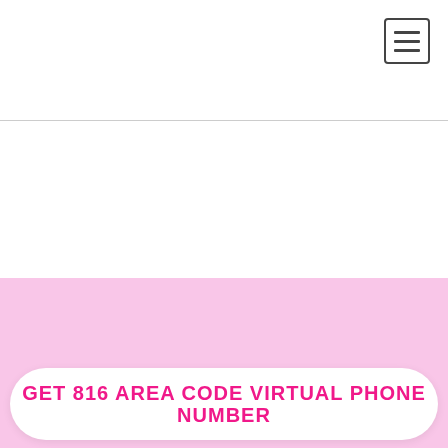[Figure (screenshot): Hamburger menu button (three horizontal lines) in a square border, positioned top-right of the page header area]
GET 816 AREA CODE VIRTUAL PHONE NUMBER